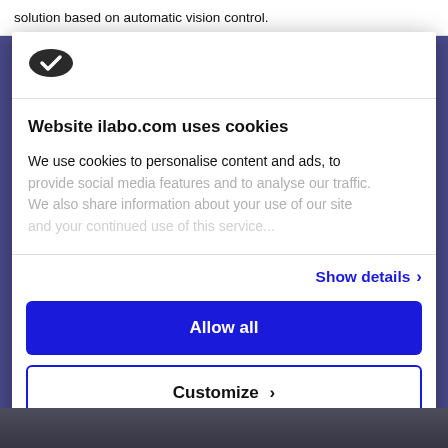solution based on automatic vision control.
[Figure (logo): Cookiebot logo - dark oval with white checkmark]
Website ilabo.com uses cookies
We use cookies to personalise content and ads, to provide social media features and to analyse our traffic. We also share information about your use of our site
Show details ›
Allow all
Customize ›
Powered by Cookiebot by Usercentrics